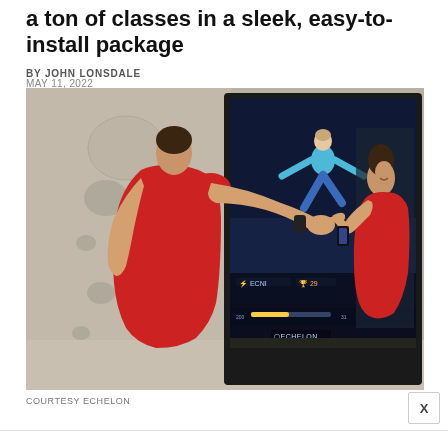a ton of classes in a sleek, easy-to-install package
BY JOHN LONSDALE
MAY 11, 2022
[Figure (photo): A man in a red tank top stretches his arm toward an Echelon interactive fitness mirror on the wall, which displays a virtual instructor doing a warrior pose. The reflection of the man is visible in the mirror.]
COURTESY ECHELON